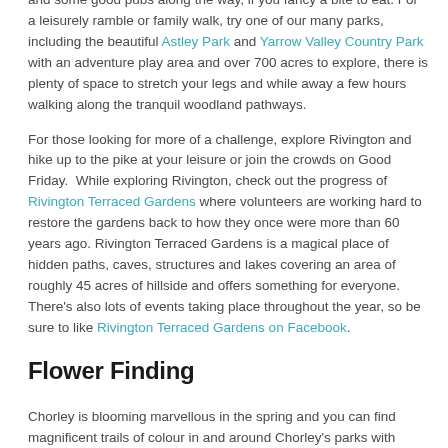and some good pubs along the way, if you fancy a bite to eat. For a leisurely ramble or family walk, try one of our many parks, including the beautiful Astley Park and Yarrow Valley Country Park with an adventure play area and over 700 acres to explore, there is plenty of space to stretch your legs and while away a few hours walking along the tranquil woodland pathways.
For those looking for more of a challenge, explore Rivington and hike up to the pike at your leisure or join the crowds on Good Friday.  While exploring Rivington, check out the progress of Rivington Terraced Gardens where volunteers are working hard to restore the gardens back to how they once were more than 60 years ago. Rivington Terraced Gardens is a magical place of hidden paths, caves, structures and lakes covering an area of roughly 45 acres of hillside and offers something for everyone. There's also lots of events taking place throughout the year, so be sure to like Rivington Terraced Gardens on Facebook.
Flower Finding
Chorley is blooming marvellous in the spring and you can find magnificent trails of colour in and around Chorley's parks with flowers shooting up throughout the season. From snowdrops in Astley park to cherry blossoms in Coronation Recreation Ground